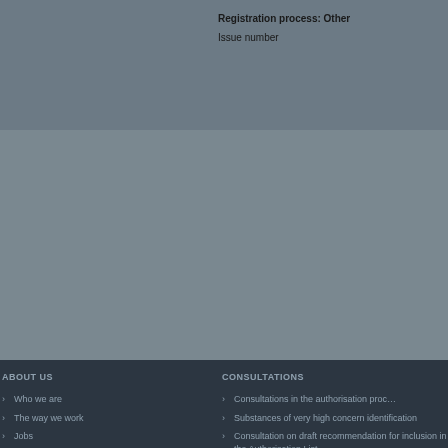Registration process: Other
Issue number
ABOUT US
Who we are
The way we work
Jobs
Procurement
CONSULTATIONS
Consultations in the authorisation proc…
Substances of very high concern identification
Consultation on draft recommendation for inclusion in the Authorisation List
Applications for authorisation consulta…